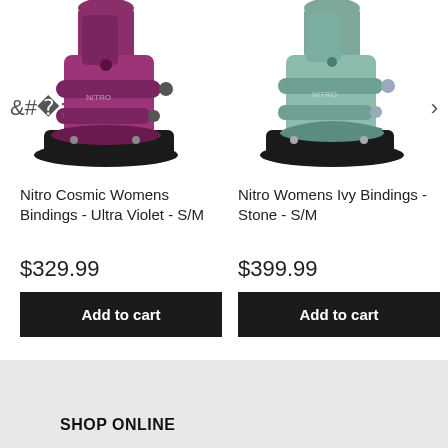[Figure (photo): Close-up photo of a purple/ultra violet Nitro Cosmic womens snowboard binding on a white background]
[Figure (photo): Close-up photo of a sage/stone green Nitro Womens Ivy snowboard binding on a white background]
Nitro Cosmic Womens Bindings - Ultra Violet - S/M
Nitro Womens Ivy Bindings - Stone - S/M
$329.99
$399.99
Add to cart
Add to cart
SHOP ONLINE